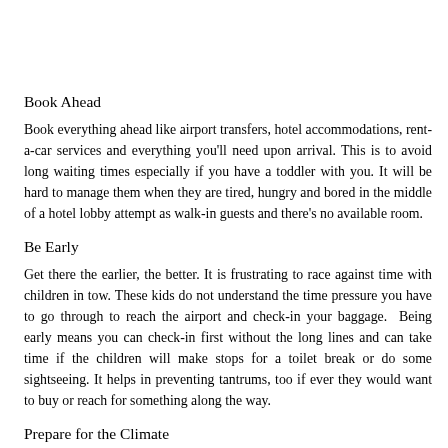Book Ahead
Book everything ahead like airport transfers, hotel accommodations, rent-a-car services and everything you'll need upon arrival. This is to avoid long waiting times especially if you have a toddler with you. It will be hard to manage them when they are tired, hungry and bored in the middle of a hotel lobby attempt as walk-in guests and there's no available room.
Be Early
Get there the earlier, the better. It is frustrating to race against time with children in tow. These kids do not understand the time pressure you have to go through to reach the airport and check-in your baggage.  Being early means you can check-in first without the long lines and can take time if the children will make stops for a toilet break or do some sightseeing. It helps in preventing tantrums, too if ever they would want to buy or reach for something along the way.
Prepare for the Climate
When going abroad or any place for that matter, make sure to research and check on the